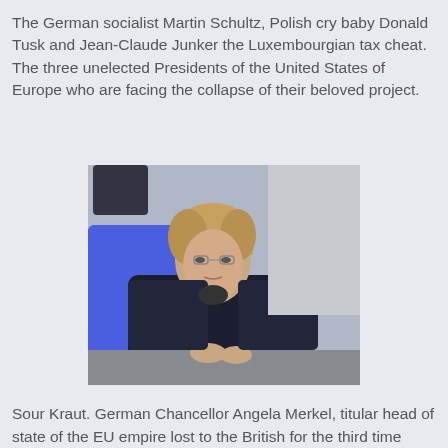The German socialist Martin Schultz, Polish cry baby Donald Tusk and Jean-Claude Junker the Luxembourgian tax cheat. The three unelected Presidents of the United States of Europe who are facing the collapse of their beloved project.
[Figure (photo): A woman in a dark jacket sits at a desk, looking downward, with a blue chair visible behind her in what appears to be an official chamber or parliament setting.]
Sour Kraut. German Chancellor Angela Merkel, titular head of state of the EU empire lost to the British for the third time